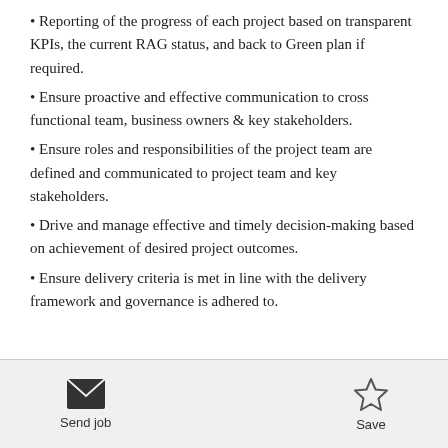Reporting of the progress of each project based on transparent KPIs, the current RAG status, and back to Green plan if required.
Ensure proactive and effective communication to cross functional team, business owners & key stakeholders.
Ensure roles and responsibilities of the project team are defined and communicated to project team and key stakeholders.
Drive and manage effective and timely decision-making based on achievement of desired project outcomes.
Ensure delivery criteria is met in line with the delivery framework and governance is adhered to.
Send job  Save